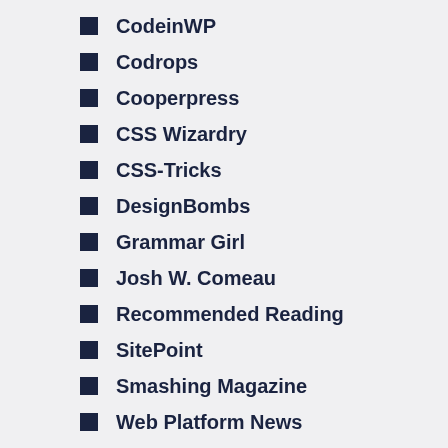CodeinWP
Codrops
Cooperpress
CSS Wizardry
CSS-Tricks
DesignBombs
Grammar Girl
Josh W. Comeau
Recommended Reading
SitePoint
Smashing Magazine
Web Platform News
WPKube